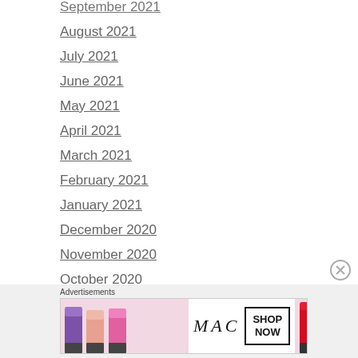September 2021
August 2021
July 2021
June 2021
May 2021
April 2021
March 2021
February 2021
January 2021
December 2020
November 2020
October 2020
[Figure (other): MAC Cosmetics advertisement banner with lipsticks and SHOP NOW call to action]